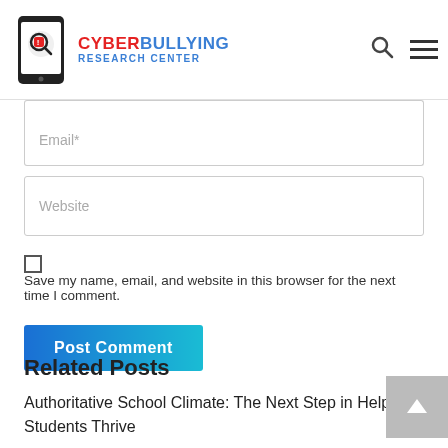Cyberbullying Research Center
Email*
Website
Save my name, email, and website in this browser for the next time I comment.
Post Comment
Related Posts
Authoritative School Climate: The Next Step in Helping Students Thrive